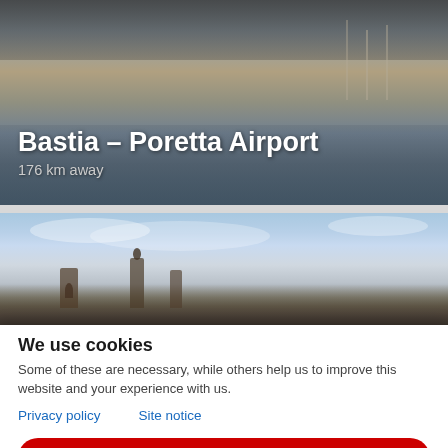[Figure (photo): Aerial or harbor view of Bastia with water and boats visible, used as background for airport card]
Bastia – Poretta Airport
176 km away
[Figure (photo): Panoramic city skyline photo with blue sky and historic buildings/towers visible]
We use cookies
Some of these are necessary, while others help us to improve this website and your experience with us.
Privacy policy   Site notice
Accept
Settings